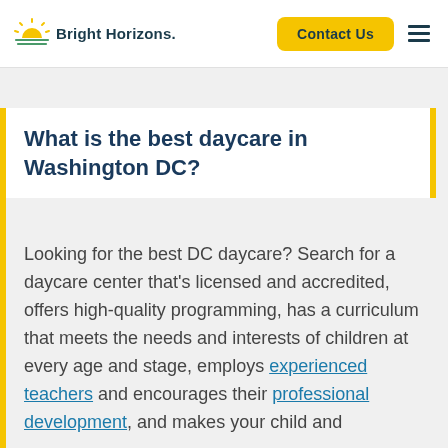Bright Horizons | Contact Us
What is the best daycare in Washington DC?
Looking for the best DC daycare? Search for a daycare center that's licensed and accredited, offers high-quality programming, has a curriculum that meets the needs and interests of children at every age and stage, employs experienced teachers and encourages their professional development, and makes your child and